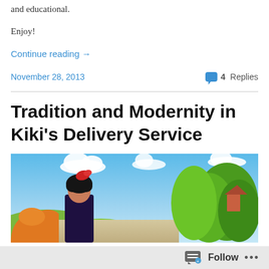and educational.
Enjoy!
Continue reading →
November 28, 2013
4 Replies
Tradition and Modernity in Kiki's Delivery Service
[Figure (illustration): Anime scene from Kiki's Delivery Service showing a young girl with a red bow in her dark hair, wearing a dark dress, with an orange creature at lower left, green trees and a red-roofed building at right, blue sky with white clouds in the background]
Follow  •••